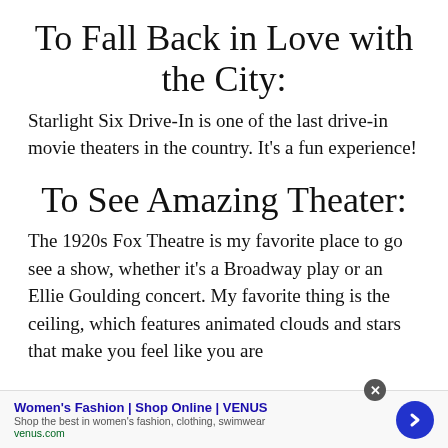To Fall Back in Love with the City:
Starlight Six Drive-In is one of the last drive-in movie theaters in the country. It's a fun experience!
To See Amazing Theater:
The 1920s Fox Theatre is my favorite place to go see a show, whether it's a Broadway play or an Ellie Goulding concert. My favorite thing is the ceiling, which features animated clouds and stars that make you feel like you are
Women's Fashion | Shop Online | VENUS
Shop the best in women's fashion, clothing, swimwear
venus.com